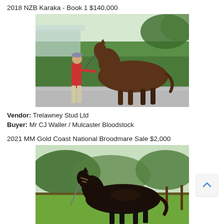2018 NZB Karaka - Book 1 $140,000
[Figure (photo): A dark bay/brown thoroughbred horse being held by a handler in a red shirt, standing on a driveway with a green hedge background and a light blue building visible. Outdoor daylight setting.]
Vendor: Trelawney Stud Ltd
Buyer: Mr CJ Waller / Mulcaster Bloodstock
2021 MM Gold Coast National Broodmare Sale $2,000
[Figure (photo): A dark bay/black thoroughbred horse standing alone in a paddock, facing left, with green grass and trees in the background and a wooden fence partially visible. Outdoor daylight setting.]